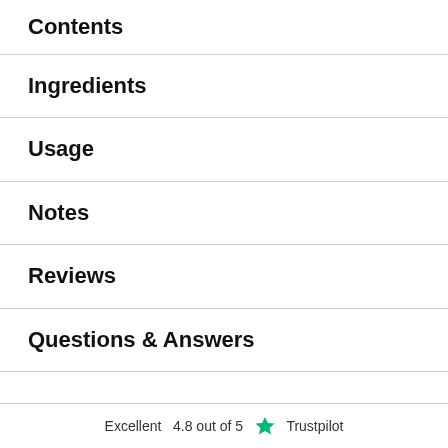Contents
Ingredients
Usage
Notes
Reviews
Questions & Answers
Excellent  4.8 out of 5  Trustpilot